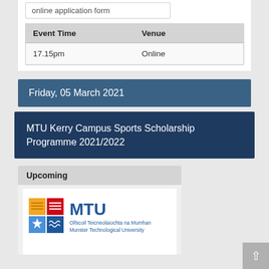online application form
| Event Time | Venue |
| --- | --- |
| 17.15pm | Online |
Friday, 05 March 2021
MTU Kerry Campus Sports Scholarship Programme 2021/2022
Upcoming
[Figure (logo): MTU - Munster Technological University logo with coloured shield emblem and text 'Ollscoil Teicneolaiochta na Mumhan Munster Technological University']